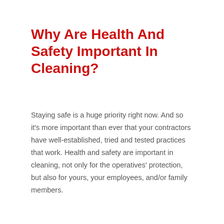Why Are Health And Safety Important In Cleaning?
Staying safe is a huge priority right now. And so it's more important than ever that your contractors have well-established, tried and tested practices that work. Health and safety are important in cleaning, not only for the operatives' protection, but also for yours, your employees, and/or family members.